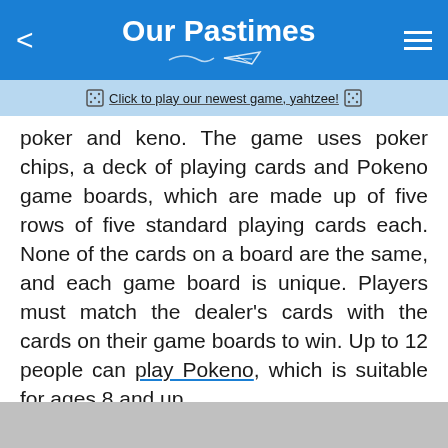Our Pastimes
Click to play our newest game, yahtzee!
poker and keno. The game uses poker chips, a deck of playing cards and Pokeno game boards, which are made up of five rows of five standard playing cards each. None of the cards on a board are the same, and each game board is unique. Players must match the dealer's cards with the cards on their game boards to win. Up to 12 people can play Pokeno, which is suitable for ages 8 and up.